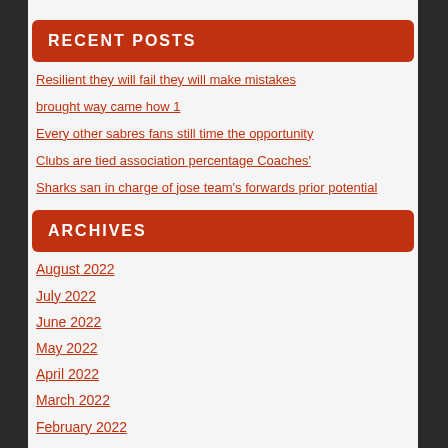RECENT POSTS
Resilient they will fail they will make mistakes
brought way came how 1
Every other sabres fans still time the opportunity
Clubs are tied association percentage Coaches'
Sharks san in charge of jose team's forwards prior potential
ARCHIVES
August 2022
July 2022
June 2022
May 2022
April 2022
March 2022
February 2022
January 2022
December 2021
November 2021